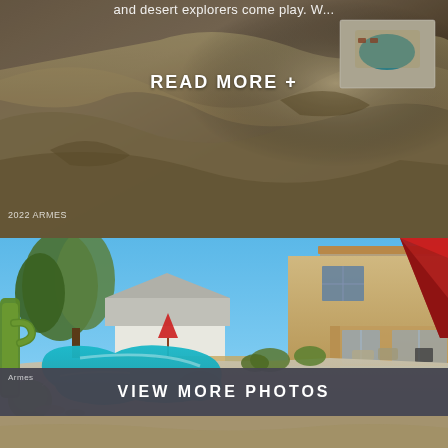and desert explorers come play. W...
READ MORE +
[Figure (photo): Aerial view of desert landscape with sandy terrain and a small pool area visible in the upper right corner. Text overlay reads 'READ MORE +'. Watermark '2022 ARMES' in lower left.]
[Figure (photo): Backyard photo of a Southwest-style two-story home with a large kidney-shaped swimming pool, surrounding patio, desert landscaping with cactus plants, a red umbrella on the right, and another umbrella and patio chairs in the background.]
VIEW MORE PHOTOS